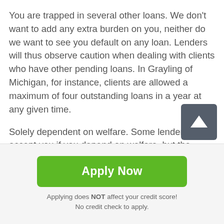You are trapped in several other loans. We don't want to add any extra burden on you, neither do we want to see you default on any loan. Lenders will thus observe caution when dealing with clients who have other pending loans. In Grayling of Michigan, for instance, clients are allowed a maximum of four outstanding loans in a year at any given time.
Solely dependent on welfare. Some lenders will accept you if you depend on welfare, but the majority will require an additional income source.
Bank overdrafts or a previous case of bankruptcy. Assuming you worked with another lender some time back
[Figure (other): Scroll-to-top button: dark grey rounded square with white upward arrow]
Apply Now
Applying does NOT affect your credit score!
No credit check to apply.